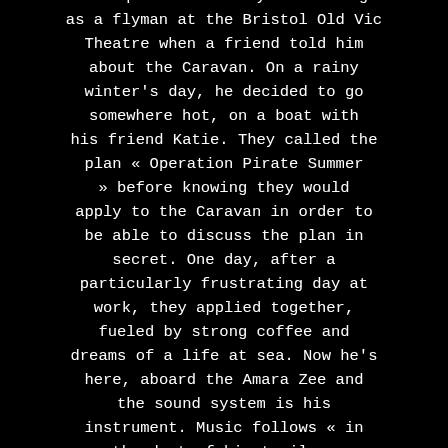Has spent the last year working as a flyman at the Bristol Old Vic Theatre when a friend told him about the Caravan. On a rainy winter's day, he decided to go somewhere hot, on a boat with his friend Katie. They called the plan « Operation Pirate Summer » before knowing they would apply to the Caravan in order to be able to discuss the plan in secret. One day, after a particularly frustrating day at work, they applied together, fueled by strong coffee and dreams of a life at sea. Now he's here, aboard the Amara Zee and the sound system is his instrument. Music follows « in the dust of his trail ».